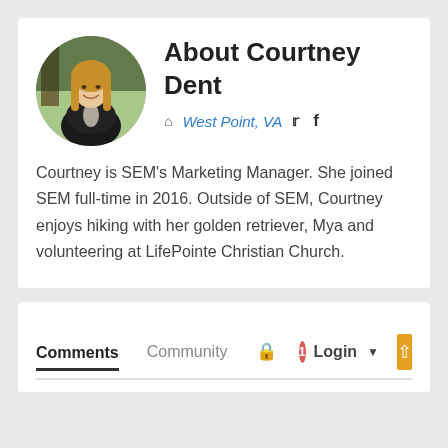[Figure (photo): Circular profile photo of Courtney Dent, a woman with long blonde hair wearing a black jacket, photographed outdoors with trees in the background.]
About Courtney Dent
West Point, VA
Courtney is SEM's Marketing Manager. She joined SEM full-time in 2016. Outside of SEM, Courtney enjoys hiking with her golden retriever, Mya and volunteering at LifePointe Christian Church.
Comments  Community  🔒  1  Login  ▾